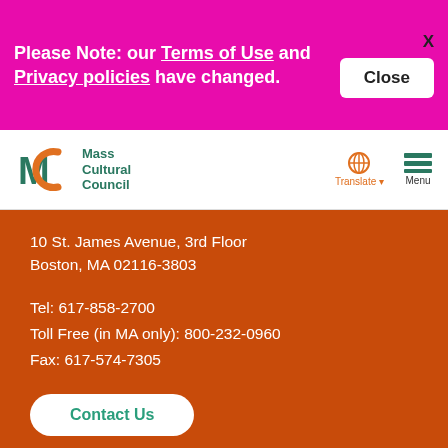Please Note: our Terms of Use and Privacy policies have changed.
Close
[Figure (logo): Mass Cultural Council logo with MC monogram in teal/green and orange]
Translate
Menu
10 St. James Avenue, 3rd Floor
Boston, MA 02116-3803
Tel: 617-858-2700
Toll Free (in MA only): 800-232-0960
Fax: 617-574-7305
Contact Us
[Figure (infographic): Social media icons: Facebook, Twitter, Instagram, YouTube, RSS]
Email Signup
Back to Top